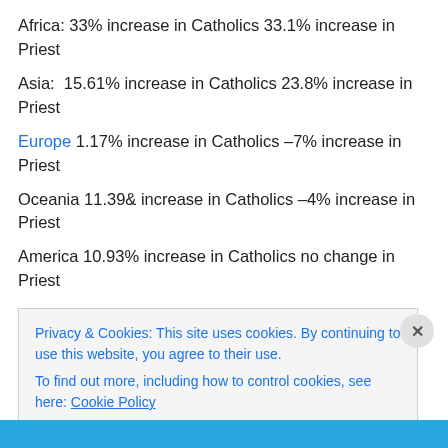Africa: 33% increase in Catholics 33.1% increase in Priest
Asia: 15.61% increase in Catholics 23.8% increase in Priest
Europe 1.17% increase in Catholics –7% increase in Priest
Oceania 11.39& increase in Catholics –4% increase in Priest
America 10.93% increase in Catholics no change in Priest
Privacy & Cookies: This site uses cookies. By continuing to use this website, you agree to their use. To find out more, including how to control cookies, see here: Cookie Policy
Close and accept